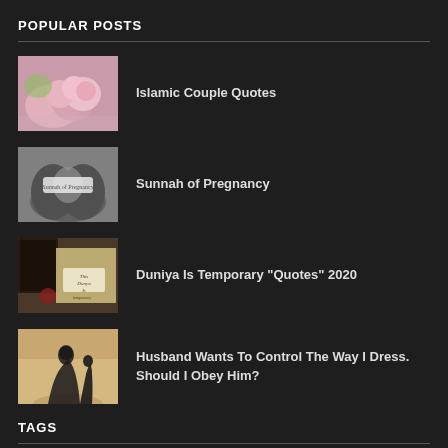POPULAR POSTS
Islamic Couple Quotes
Sunnah of Pregnancy
Duniya Is Temporary "Quotes" 2020
Husband Wants To Control The Way I Dress. Should I Obey Him?
TAGS